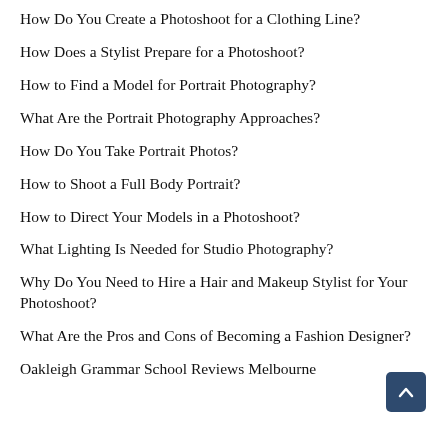How Do You Create a Photoshoot for a Clothing Line?
How Does a Stylist Prepare for a Photoshoot?
How to Find a Model for Portrait Photography?
What Are the Portrait Photography Approaches?
How Do You Take Portrait Photos?
How to Shoot a Full Body Portrait?
How to Direct Your Models in a Photoshoot?
What Lighting Is Needed for Studio Photography?
Why Do You Need to Hire a Hair and Makeup Stylist for Your Photoshoot?
What Are the Pros and Cons of Becoming a Fashion Designer?
Oakleigh Grammar School Reviews Melbourne